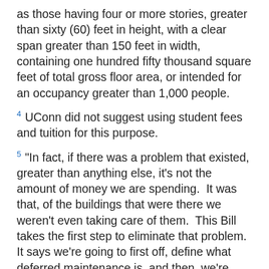as those having four or more stories, greater than sixty (60) feet in height, with a clear span greater than 150 feet in width, containing one hundred fifty thousand square feet of total gross floor area, or intended for an occupancy greater than 1,000 people.
4 UConn did not suggest using student fees and tuition for this purpose.
5 "In fact, if there was a problem that existed, greater than anything else, it's not the amount of money we are spending.  It was that, of the buildings that were there we weren't even taking care of them.  This Bill takes the first step to eliminate that problem.  It says we're going to first off, define what deferred maintenance is, and then, we're going to issue an annual report of what deferred maintenance exists on all of the campuses, and what it will cost to fix it."  49 Conn. H.R. Proc., pt 14, 2006 Sess. 004379 (April 20, 2006) (remarks of Representative